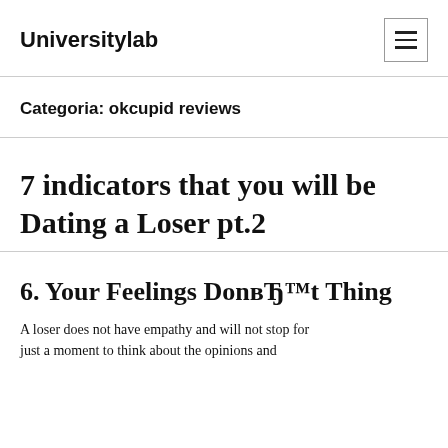Universitylab
Categoria: okcupid reviews
7 indicators that you will be Dating a Loser pt.2
6. Your Feelings DonвЂ™t Thing
A loser does not have empathy and will not stop for just a moment to think about your thoughts and opinions.